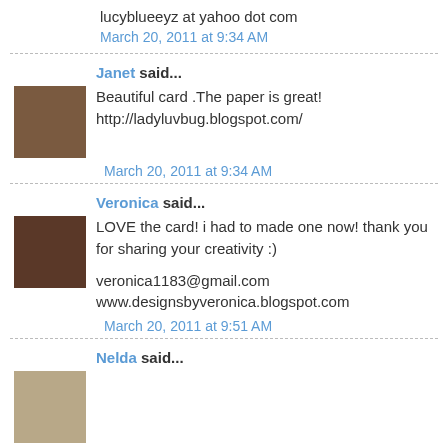lucyblueeyz at yahoo dot com
March 20, 2011 at 9:34 AM
Janet said...
Beautiful card .The paper is great! http://ladyluvbug.blogspot.com/
March 20, 2011 at 9:34 AM
Veronica said...
LOVE the card! i had to made one now! thank you for sharing your creativity :)
veronica1183@gmail.com
www.designsbyveronica.blogspot.com
March 20, 2011 at 9:51 AM
Nelda said...